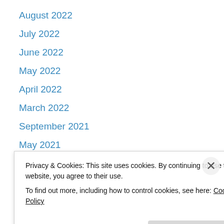August 2022
July 2022
June 2022
May 2022
April 2022
March 2022
September 2021
May 2021
March 2021
January 2021
December 2020
October 2020
September 2020
Privacy & Cookies: This site uses cookies. By continuing to use this website, you agree to their use.
To find out more, including how to control cookies, see here: Cookie Policy
Close and accept